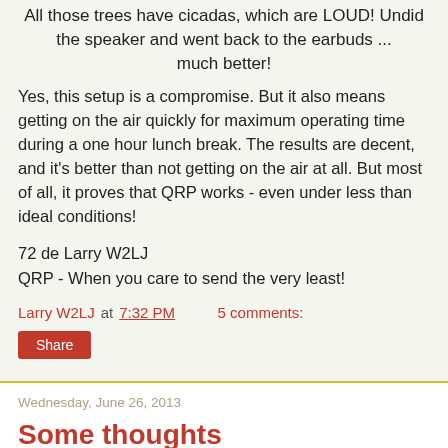All those trees have cicadas, which are LOUD! Undid the speaker and went back to the earbuds ... much better!
Yes, this setup is a compromise. But it also means getting on the air quickly for maximum operating time during a one hour lunch break.  The results are decent, and it's better than not getting on the air at all. But most of all, it proves that QRP works - even under less than ideal conditions!
72 de Larry W2LJ
QRP - When you care to send the very least!
Larry W2LJ at 7:32 PM    5 comments:
Share
Wednesday, June 26, 2013
Some thoughts
Argh! If my head wasn't screwed on, I would probably forget that, too!